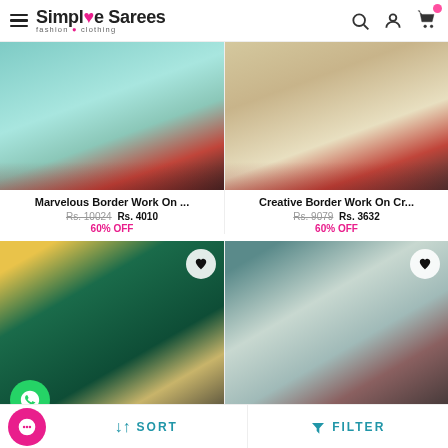Simple Sarees — fashion • clothing
[Figure (photo): Product photo of a mint/teal border saree laid flat with rose petals in background (left column, top)]
[Figure (photo): Product photo of a cream/gold border saree laid flat with rose petals in background (right column, top)]
Marvelous Border Work On ...
Rs. 10024 Rs. 4010
60% OFF
Creative Border Work On Cr...
Rs. 9079 Rs. 3632
60% OFF
[Figure (photo): Model wearing dark teal/green saree with yellow blouse, WhatsApp button visible, decorative hanging backdrop]
[Figure (photo): Model wearing light teal/mint embroidered saree with dark navy border, decorative hanging backdrop]
SORT   FILTER